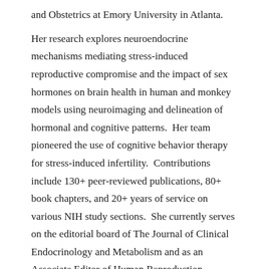and Obstetrics at Emory University in Atlanta.
Her research explores neuroendocrine mechanisms mediating stress-induced reproductive compromise and the impact of sex hormones on brain health in human and monkey models using neuroimaging and delineation of hormonal and cognitive patterns.  Her team pioneered the use of cognitive behavior therapy for stress-induced infertility.  Contributions include 130+ peer-reviewed publications, 80+ book chapters, and 20+ years of service on various NIH study sections.  She currently serves on the editorial board of The Journal of Clinical Endocrinology and Metabolism and as an Associate Editor of Human Reproduction Update.  Awards include the SGI Presidential Achievement Award and the Berthold Medal of the Deutsche Gesellschaft für Endokrinologie (German Endocrine Society).  Past leadership positions include President of the Society for Gynecological Investigation and Society of Humanism in Medicine, and member of the Board of